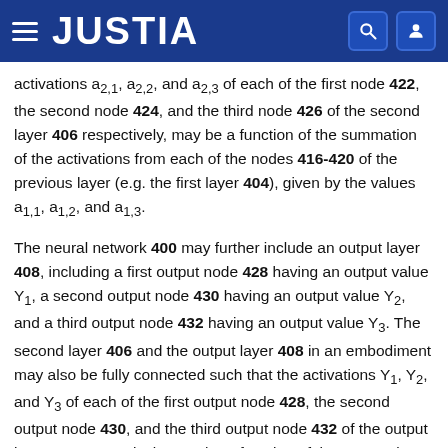JUSTIA
activations a2,1, a2,2, and a2,3 of each of the first node 422, the second node 424, and the third node 426 of the second layer 406 respectively, may be a function of the summation of the activations from each of the nodes 416-420 of the previous layer (e.g. the first layer 404), given by the values a1,1, a1,2, and a1,3.
The neural network 400 may further include an output layer 408, including a first output node 428 having an output value Y1, a second output node 430 having an output value Y2, and a third output node 432 having an output value Y3. The second layer 406 and the output layer 408 in an embodiment may also be fully connected such that the activations Y1, Y2, and Y3 of each of the first output node 428, the second output node 430, and the third output node 432 of the output layer 408 respectively, may be a function of the summation of the